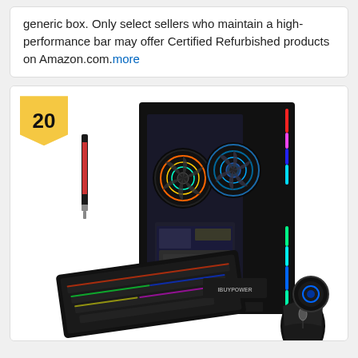generic box. Only select sellers who maintain a high-performance bar may offer Certified Refurbished products on Amazon.com. more
[Figure (photo): Product listing item numbered 20 showing a gaming PC desktop tower with RGB lighting strips, two RGB fans visible through glass panel, accompanied by a red stylus pen, RGB gaming keyboard, and gaming mouse.]